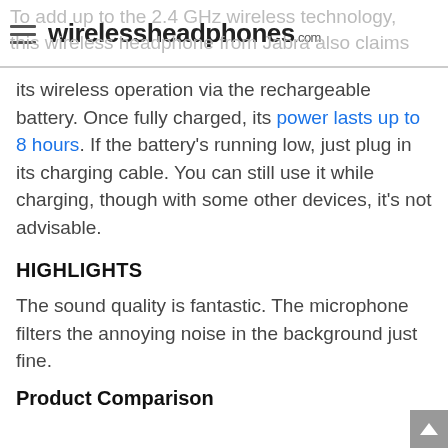wirelessheadphones.com
To add up to the 2.4 GHz wireless technology, this wireless headphone from Jabra also claims its wireless operation via the rechargeable battery. Once fully charged, its power lasts up to 8 hours. If the battery's running low, just plug in its charging cable. You can still use it while charging, though with some other devices, it's not advisable.
HIGHLIGHTS
The sound quality is fantastic. The microphone filters the annoying noise in the background just fine.
Product Comparison